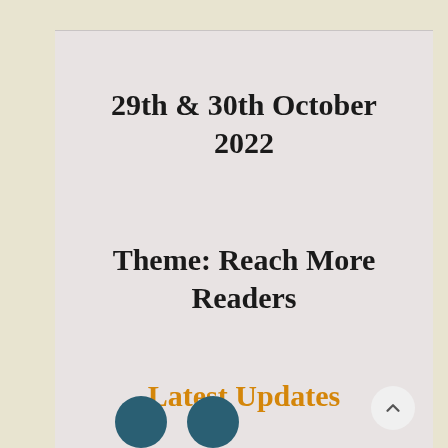29th & 30th October 2022
Theme: Reach More Readers
Latest Updates